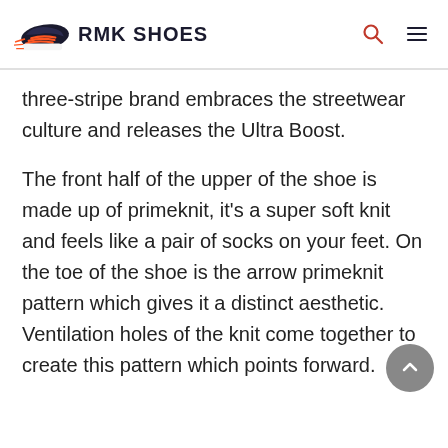RMK SHOES
three-stripe brand embraces the streetwear culture and releases the Ultra Boost.
The front half of the upper of the shoe is made up of primeknit, it’s a super soft knit and feels like a pair of socks on your feet. On the toe of the shoe is the arrow primeknit pattern which gives it a distinct aesthetic. Ventilation holes of the knit come together to create this pattern which points forward.